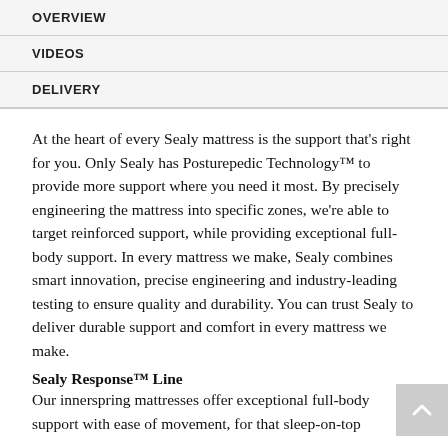OVERVIEW
VIDEOS
DELIVERY
At the heart of every Sealy mattress is the support that's right for you. Only Sealy has Posturepedic Technology™ to provide more support where you need it most. By precisely engineering the mattress into specific zones, we're able to target reinforced support, while providing exceptional full-body support. In every mattress we make, Sealy combines smart innovation, precise engineering and industry-leading testing to ensure quality and durability. You can trust Sealy to deliver durable support and comfort in every mattress we make.
Sealy Response™ Line
Our innerspring mattresses offer exceptional full-body support with ease of movement, for that sleep-on-top